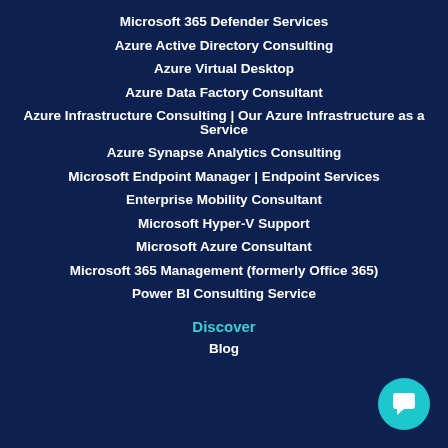Microsoft 365 Defender Services
Azure Active Directory Consulting
Azure Virtual Desktop
Azure Data Factory Consultant
Azure Infrastructure Consulting | Our Azure Infrastructure as a Service
Azure Synapse Analytics Consulting
Microsoft Endpoint Manager | Endpoint Services
Enterprise Mobility Consultant
Microsoft Hyper-V Support
Microsoft Azure Consultant
Microsoft 365 Management (formerly Office 365)
Power BI Consulting Service
Discover
Blog